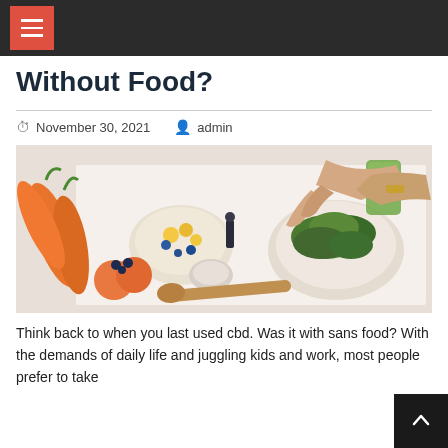Without Food?
November 30, 2021   admin
[Figure (photo): Overhead view of a person preparing food with vegetables, fruits, herbs, and bowls on a white surface. Visible items include carrots, blueberries, peaches, a bowl of mixed salad, green herbs on a plate, a green smoothie, wooden spoon, and a small dropper bottle.]
Think back to when you last used cbd. Was it with sans food? With the demands of daily life and juggling kids and work, most people prefer to take